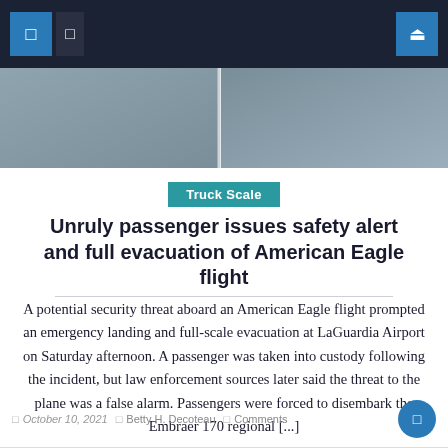Navigation bar with icons
[Figure (photo): Two-panel hero image showing grey/blue textured surfaces, possibly aircraft interior or similar material]
Truck Scale
Unruly passenger issues safety alert and full evacuation of American Eagle flight
A potential security threat aboard an American Eagle flight prompted an emergency landing and full-scale evacuation at LaGuardia Airport on Saturday afternoon. A passenger was taken into custody following the incident, but law enforcement sources later said the threat to the plane was a false alarm. Passengers were forced to disembark the Embraer 170 regional [...]
October 10, 2021   Betty H. Decoteau   Comments